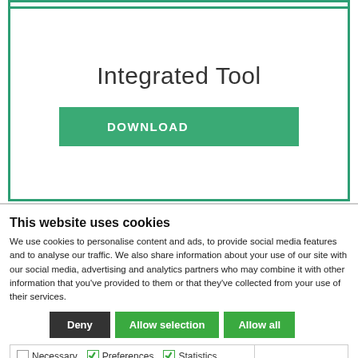[Figure (screenshot): Integrated Tool download card with green border, showing title 'Integrated Tool' and a green DOWNLOAD button]
This website uses cookies
We use cookies to personalise content and ads, to provide social media features and to analyse our traffic. We also share information about your use of our site with our social media, advertising and analytics partners who may combine it with other information that you've provided to them or that they've collected from your use of their services.
Deny | Allow selection | Allow all
Necessary  Preferences  Statistics  Marketing  Show details